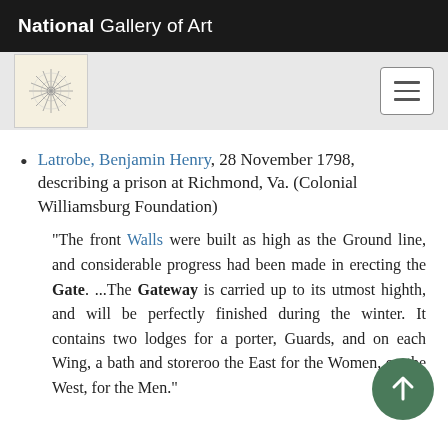National Gallery of Art
[Figure (logo): National Gallery of Art logo / compass rose on cream background]
Latrobe, Benjamin Henry, 28 November 1798, describing a prison at Richmond, Va. (Colonial Williamsburg Foundation)
“The front Walls were built as high as the Ground line, and considerable progress had been made in erecting the Gate. ...The Gateway is carried up to its utmost highth, and will be perfectly finished during the winter. It contains two lodges for a porter, Guards, and on each Wing, a bath and storeroom, the East for the Women, on the West, for the Men.”